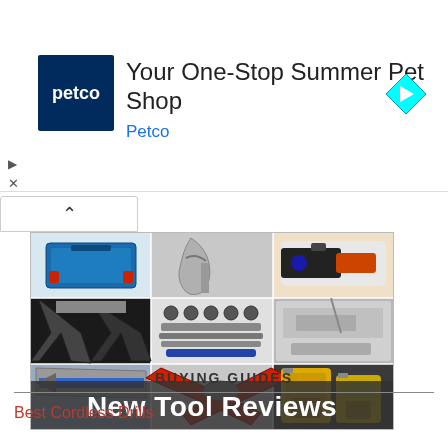[Figure (screenshot): Petco advertisement banner: Petco logo (dark blue square with 'petco' text), headline 'Your One-Stop Summer Pet Shop', subtext 'Petco' in blue, cyan diamond arrow icon on right. Navigation controls (play triangle and X) on left side.]
[Figure (photo): Collage of tools in a 3x3 grid: Bosch tool case (blue), adjustable wrench, Black+Decker cordless screwdriver, wire stripper/cutter tool, socket set bits, table saw in use, hacksaw/cutter, red handled pliers, and yellow cordless drills. Bottom overlay reads 'New Tool Reviews' in white bold text on dark background.]
BUYING GUIDES
Best Cordless Drills